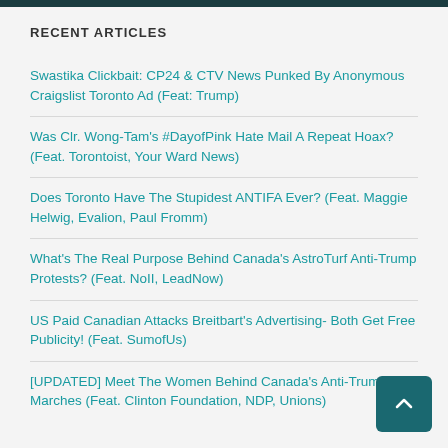RECENT ARTICLES
Swastika Clickbait: CP24 & CTV News Punked By Anonymous Craigslist Toronto Ad (Feat: Trump)
Was Clr. Wong-Tam's #DayofPink Hate Mail A Repeat Hoax? (Feat. Torontoist, Your Ward News)
Does Toronto Have The Stupidest ANTIFA Ever? (Feat. Maggie Helwig, Evalion, Paul Fromm)
What's The Real Purpose Behind Canada's AstroTurf Anti-Trump Protests? (Feat. NoII, LeadNow)
US Paid Canadian Attacks Breitbart's Advertising- Both Get Free Publicity! (Feat. SumofUs)
[UPDATED] Meet The Women Behind Canada's Anti-Trump Marches (Feat. Clinton Foundation, NDP, Unions)